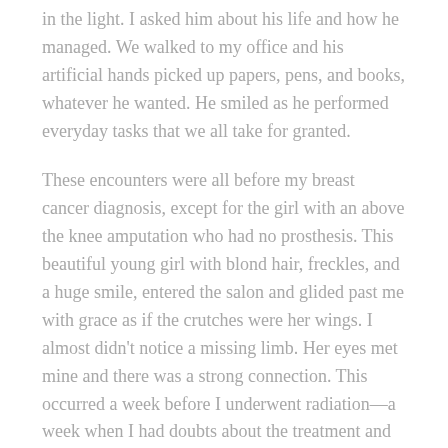in the light. I asked him about his life and how he managed. We walked to my office and his artificial hands picked up papers, pens, and books, whatever he wanted. He smiled as he performed everyday tasks that we all take for granted.
These encounters were all before my breast cancer diagnosis, except for the girl with an above the knee amputation who had no prosthesis. This beautiful young girl with blond hair, freckles, and a huge smile, entered the salon and glided past me with grace as if the crutches were her wings. I almost didn't notice a missing limb. Her eyes met mine and there was a strong connection. This occurred a week before I underwent radiation—a week when I had doubts about the treatment and its aftereffects. I wanted to talk with her, but thought it best not to. The strength I needed didn't require a conversation or necessitate an explanation of what had happened to her. The image of her smile seemed to put things in perspective—then and now.